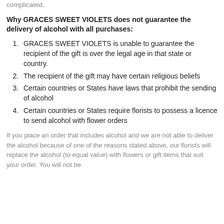complicated.
Why GRACES SWEET VIOLETS does not guarantee the delivery of alcohol with all purchases:
GRACES SWEET VIOLETS is unable to guarantee the recipient of the gift is over the legal age in that state or country.
The recipient of the gift may have certain religious beliefs
Certain countries or States have laws that prohibit the sending of alcohol
Certain countries or States require florists to possess a licence to send alcohol with flower orders
If you place an order that includes alcohol and we are not able to deliver the alcohol because of one of the reasons stated above, our florists will replace the alcohol (to equal value) with flowers or gift items that suit your order. You will not be